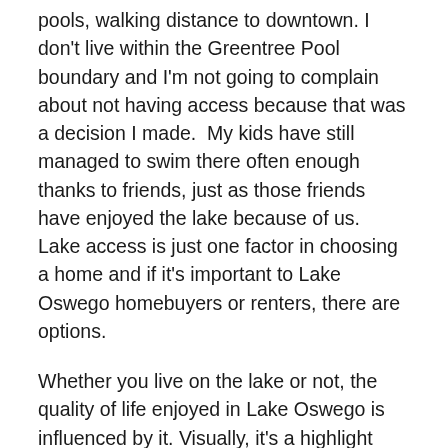pools, walking distance to downtown. I don't live within the Greentree Pool boundary and I'm not going to complain about not having access because that was a decision I made.  My kids have still managed to swim there often enough thanks to friends, just as those friends have enjoyed the lake because of us.  Lake access is just one factor in choosing a home and if it's important to Lake Oswego homebuyers or renters, there are options.
Whether you live on the lake or not, the quality of life enjoyed in Lake Oswego is influenced by it. Visually, it's a highlight that the city has taken great measures to capitalize on in the placement of its parks such as Millennium Plaza and Sundeleaf. Recreationally, generations of kids have grown up swimming in the lake either at the Lake Grove Swim Park or Ridgeway Park. Citizens have enjoyed the 4th of July ski show from